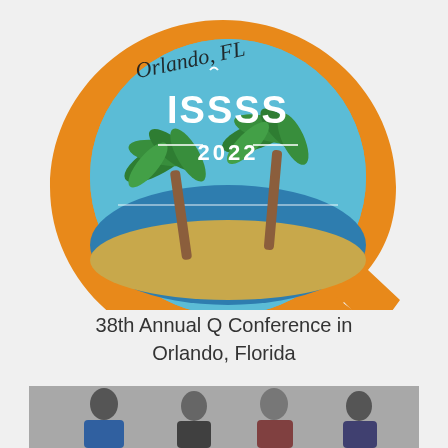[Figure (logo): ISSSS 2022 logo featuring a large orange Q letter shape with a circular beach/palm tree scene inside, and cursive text 'Orlando, FL' overlaid on top]
38th Annual Q Conference in Orlando, Florida
[Figure (photo): Photo strip showing a group of people, partially visible at the bottom of the page]